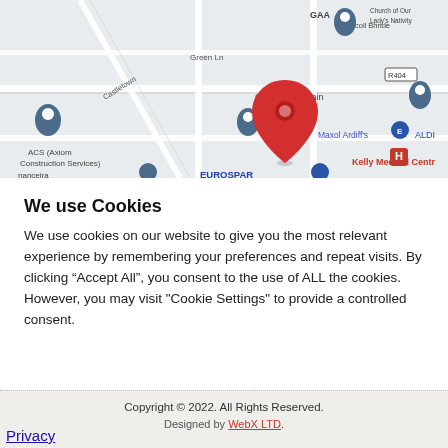[Figure (map): Google Maps screenshot showing an area with landmarks: GAA, Scoil Bhride, Church of Our Lady's Nativity, Green Ln, Colaiste Chiarain, R404, Maxol Ardiff's, ALDI, ACS (Axiom Construction Services), Kelly Medical Centr, nanceira, EUROSPAR. A red location pin is centered on the map.]
We use Cookies
We use cookies on our website to give you the most relevant experience by remembering your preferences and repeat visits. By clicking “Accept All”, you consent to the use of ALL the cookies. However, you may visit "Cookie Settings" to provide a controlled consent.
Copyright © 2022. All Rights Reserved.
Designed by WebX LTD.
Privacy